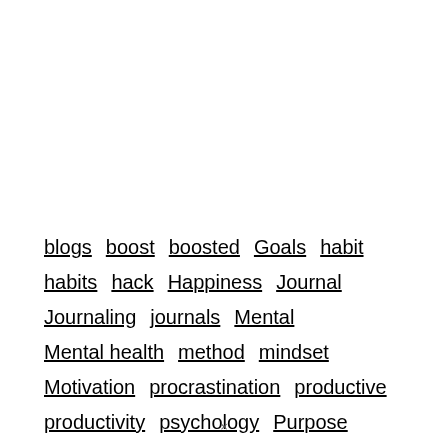blogs boost boosted Goals habit habits hack Happiness Journal Journaling journals Mental Mental health method mindset Motivation procrastination productive productivity psychology Purpose self development self improvement
×